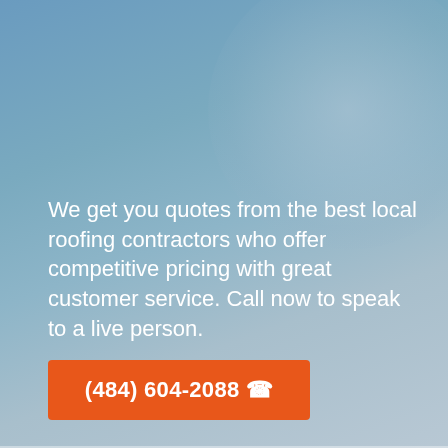[Figure (photo): Blue-grey gradient background with a subtle lighter circular highlight in the upper-right area, resembling a blurred sky or architectural background photo.]
We get you quotes from the best local roofing contractors who offer competitive pricing with great customer service. Call now to speak to a live person.
(484) 604-2088